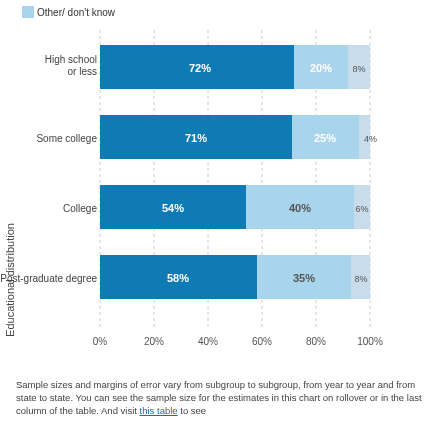[Figure (stacked-bar-chart): Educational distribution]
Sample sizes and margins of error vary from subgroup to subgroup, from year to year and from state to state. You can see the sample size for the estimates in this chart on rollover or in the last column of the table. And visit this table to see...